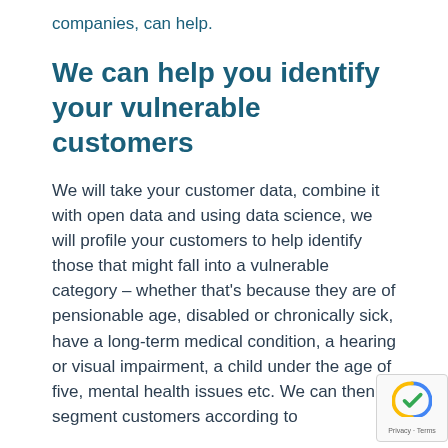companies, can help.
We can help you identify your vulnerable customers
We will take your customer data, combine it with open data and using data science, we will profile your customers to help identify those that might fall into a vulnerable category – whether that's because they are of pensionable age, disabled or chronically sick, have a long-term medical condition, a hearing or visual impairment, a child under the age of five, mental health issues etc. We can then segment customers according to